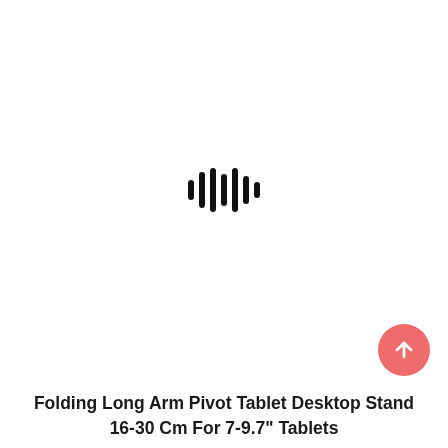[Figure (illustration): Audio waveform / loading icon with vertical bars of varying heights centered on the page]
[Figure (other): Coral/salmon colored circular button with a white upward arrow icon, positioned bottom-right]
Folding Long Arm Pivot Tablet Desktop Stand 16-30 Cm For 7-9.7" Tablets